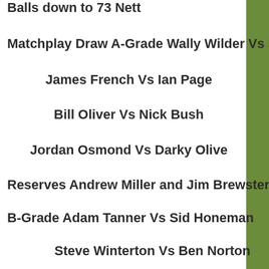Balls down to  73 Nett
Matchplay Draw A-Grade  Wally Wilder Vs Steve Connelly
James French Vs Ian Page
Bill Oliver Vs Nick Bush
Jordan Osmond Vs Darky Oliver
Reserves  Andrew Miller and Jim Brewster
B-Grade  Adam Tanner Vs Sid Honeman
Steve Winterton Vs Ben Norton
George Glasheen Vs Jim Glasheen
Paul Blizzard Vs Ryan Terry
Reserves  Phil Mitchell and Gus Stinson